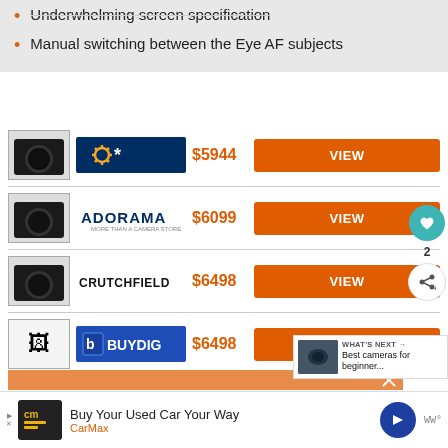Underwhelming screen specification
Manual switching between the Eye AF subjects
| Store | Price | Action |
| --- | --- | --- |
| Walmart | $5944 | VIEW |
| Adorama | $6099 | VIEW |
| Crutchfield | $6498 | VIEW |
| BuyDig | $6498 | VIEW |
[Figure (screenshot): What's Next panel showing Best cameras for beginner...]
[Figure (screenshot): CarMax advertisement: Buy Your Used Car Your Way]